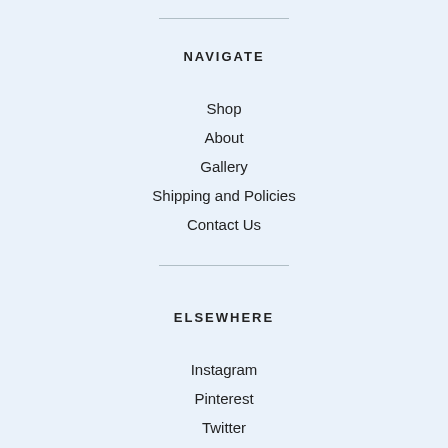NAVIGATE
Shop
About
Gallery
Shipping and Policies
Contact Us
ELSEWHERE
Instagram
Pinterest
Twitter